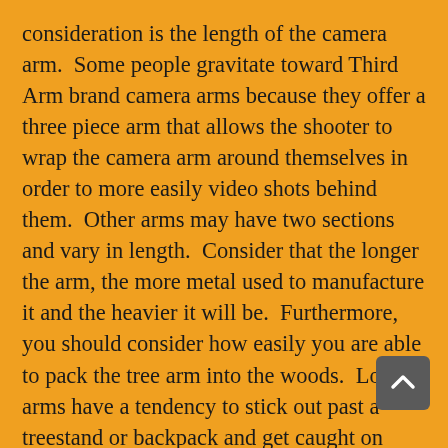consideration is the length of the camera arm.  Some people gravitate toward Third Arm brand camera arms because they offer a three piece arm that allows the shooter to wrap the camera arm around themselves in order to more easily video shots behind them.  Other arms may have two sections and vary in length.  Consider that the longer the arm, the more metal used to manufacture it and the heavier it will be.  Furthermore, you should consider how easily you are able to pack the tree arm into the woods.  Longer arms have a tendency to stick out past a treestand or backpack and get caught on brush or low branches as you walk to your hunting location.  The Hunting Beast camera arm features three shorter sections and a unique pistol grip fluid head that is designed for the solo hunter and is more “packable” than some other models.  The attachment base is leveled with a screw